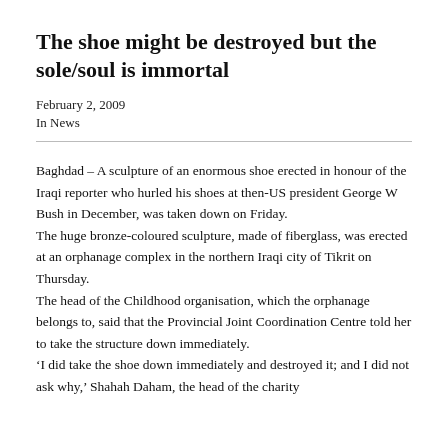The shoe might be destroyed but the sole/soul is immortal
February 2, 2009
In News
Baghdad – A sculpture of an enormous shoe erected in honour of the Iraqi reporter who hurled his shoes at then-US president George W Bush in December, was taken down on Friday. The huge bronze-coloured sculpture, made of fiberglass, was erected at an orphanage complex in the northern Iraqi city of Tikrit on Thursday. The head of the Childhood organisation, which the orphanage belongs to, said that the Provincial Joint Coordination Centre told her to take the structure down immediately. 'I did take the shoe down immediately and destroyed it; and I did not ask why,' Shahah Daham, the head of the charity